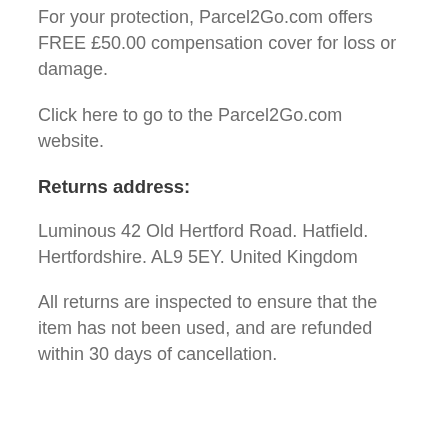For your protection, Parcel2Go.com offers FREE £50.00 compensation cover for loss or damage.
Click here to go to the Parcel2Go.com website.
Returns address:
Luminous 42 Old Hertford Road. Hatfield. Hertfordshire. AL9 5EY. United Kingdom
All returns are inspected to ensure that the item has not been used, and are refunded within 30 days of cancellation.